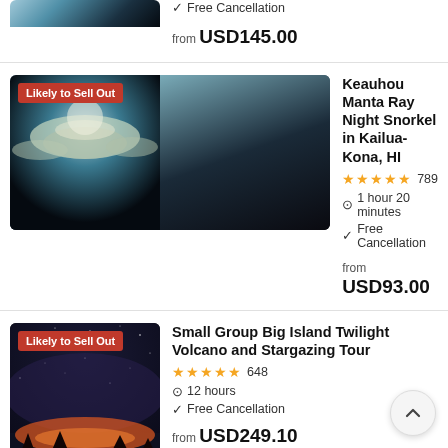[Figure (photo): Top partial listing showing ocean/water image (partially cropped)]
✓ Free Cancellation
from USD145.00
[Figure (photo): Manta ray underwater night snorkel photo with 'Likely to Sell Out' badge]
Keauhou Manta Ray Night Snorkel in Kailua-Kona, HI
★★★★★ 789
1 hour 20 minutes
✓ Free Cancellation
from USD93.00
[Figure (photo): Stargazing/volcano twilight night sky photo with 'Likely to Sell Out' badge]
Small Group Big Island Twilight Volcano and Stargazing Tour
★★★★★ 648
12 hours
✓ Free Cancellation
from USD249.10